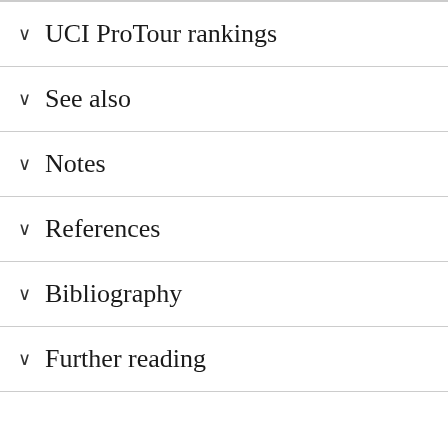UCI ProTour rankings
See also
Notes
References
Bibliography
Further reading